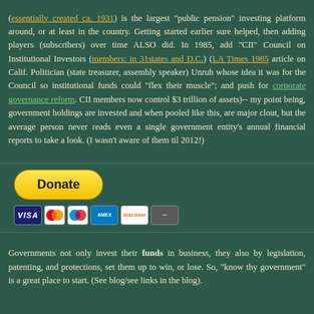(essentially created ca. 1931) is the largest "public pension" investing platform around, or at least in the country. Getting started earlier sure helped, then adding players (subscribers) over time ALSO did. In 1985, add "CII" Council on Institutional Investors (members: in 31states and D.C.) (LA Times 1985 article on Calif. Politician (state treasurer, assembly speaker) Unruh whose idea it was for the Council so institutional funds could "flex their muscle"; and push for corporate governance reform. CII members now control $3 trillion of assets)-- my point being, government holdings are invested and when pooled like this, are major clout, but the average person never reads even a single government entity's annual financial reports to take a look. (I wasn't aware of them til 2012!)
[Figure (other): PayPal Donate button with payment card icons (Visa, Mastercard, Maestro, American Express, Discover, and another card)]
Governments not only invest their funds in business, they also by legislation, patenting, and protections, set them up to win, or lose. So, "know thy government" is a great place to start. (See blog/see links in the blog).